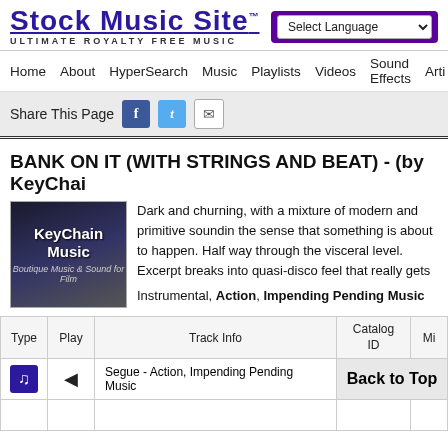Stock Music Site - ULTIMATE ROYALTY FREE MUSIC
Select Language
Home  About  HyperSearch  Music  Playlists  Videos  Sound Effects  Arti
Share This Page
BANK ON IT (WITH STRINGS AND BEAT) - (by KeyChain
[Figure (logo): KeyChain Music artist logo/thumbnail]
Dark and churning, with a mixture of modern and primitive sounding the sense that something is about to happen. Half way through the visceral level. Excerpt breaks into quasi-disco feel that really gets Instrumental, Action, Impending Pending Music
| Type | Play | Track Info | Catalog ID | Mi |
| --- | --- | --- | --- | --- |
| [music icon] | [speaker icon] | Segue - Action, Impending Pending Music | Back to Top |  |
Back to Top